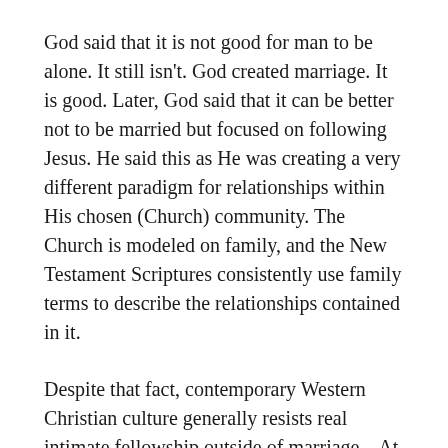God said that it is not good for man to be alone. It still isn't. God created marriage. It is good. Later, God said that it can be better not to be married but focused on following Jesus. He said this as He was creating a very different paradigm for relationships within His chosen (Church) community. The Church is modeled on family, and the New Testament Scriptures consistently use family terms to describe the relationships contained in it.
Despite that fact, contemporary Western Christian culture generally resists real intimate fellowship outside of marriage.   At the same time there are many people who for many reasons are in no position to marry, but their